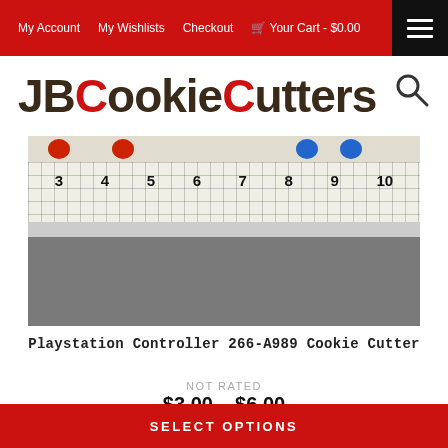My Account   My Wishlists   Checkout   Your Cart - $0.00
JBCookieCutters
[Figure (photo): Product photo showing cookie cutters on a ruler/grid background measuring from 3 to 10 inches]
Playstation Controller 266-A989 Cookie Cutter
NOT RATED
$3.00 – $6.00
SELECT OPTIONS